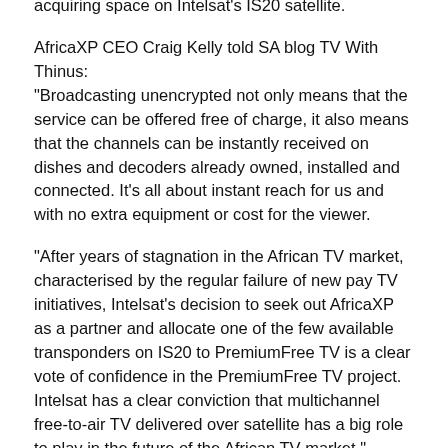acquiring space on Intelsat's IS20 satellite.
AfricaXP CEO Craig Kelly told SA blog TV With Thinus: "Broadcasting unencrypted not only means that the service can be offered free of charge, it also means that the channels can be instantly received on dishes and decoders already owned, installed and connected. It's all about instant reach for us and with no extra equipment or cost for the viewer.
"After years of stagnation in the African TV market, characterised by the regular failure of new pay TV initiatives, Intelsat's decision to seek out AfricaXP as a partner and allocate one of the few available transponders on IS20 to PremiumFree TV is a clear vote of confidence in the PremiumFree TV project. Intelsat has a clear conviction that multichannel free-to-air TV delivered over satellite has a big role to play in the future of the African TV market."
Intelsat senior account director Christelle Meyer added: "Many countries dealing with economic disparity or smaller populations struggle with making fibre and mobile broadband work as a universal media distribution technology. Satellite will play a vital role in delivering rich media content to all corners of the continent